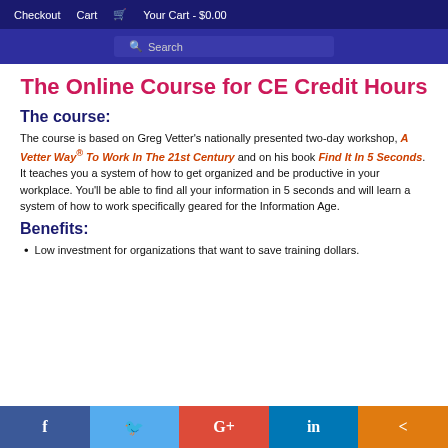Checkout   Cart   🛒 Your Cart - $0.00
Search
The Online Course for CE Credit Hours
The course:
The course is based on Greg Vetter's nationally presented two-day workshop, A Vetter Way® To Work In The 21st Century and on his book Find It In 5 Seconds. It teaches you a system of how to get organized and be productive in your workplace. You'll be able to find all your information in 5 seconds and will learn a system of how to work specifically geared for the Information Age.
Benefits:
Low investment for organizations that want to save training dollars.
f  Twitter  G+  in  share